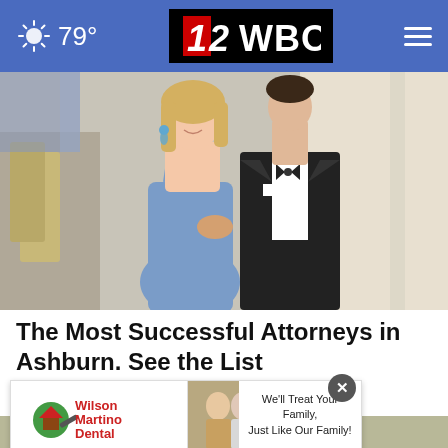79° | 12WBOY
[Figure (photo): A woman in a blue spaghetti-strap dress and a man in a black tuxedo with bow tie posing together at a formal event indoors]
The Most Successful Attorneys in Ashburn. See the List
Top Attorney | Sponsored Links
[Figure (photo): Bottom portion: advertisement banner for Wilson Martino Dental with logo and text 'We'll Treat Your Family, Just Like Our Family!' overlaid on a partial photo]
[Figure (other): Wilson Martino Dental advertisement banner showing logo and couple smiling]